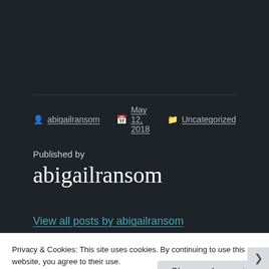abigailransom  May 12, 2018  Uncategorized
Published by
abigailransom
View all posts by abigailransom
Privacy & Cookies: This site uses cookies. By continuing to use this website, you agree to their use.
To find out more, including how to control cookies, see here: Cookie Policy
Close and accept